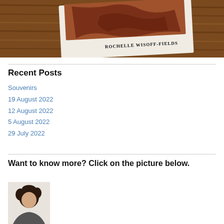[Figure (photo): Photo of a book by Rochelle Wisoff-Fields placed on a wooden table surface. The book cover shows a reddish-brown illustrated design and the author name 'ROCHELLE WISOFF-FIELDS' is visible on the cover.]
Recent Posts
Souvenirs
19 August 2022
12 August 2022
5 August 2022
29 July 2022
Want to know more? Click on the picture below.
[Figure (photo): Partial photo of a person (appears to be a woman with curly dark hair) against a light background.]